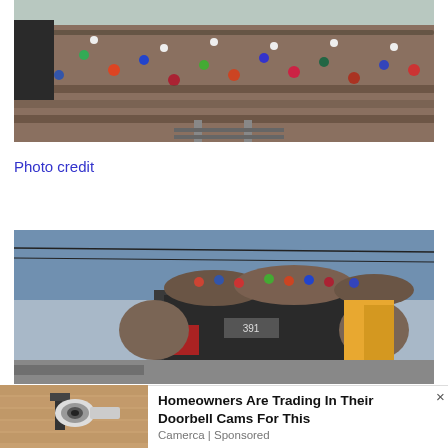[Figure (photo): Aerial view of a massive crowd of people at what appears to be a railway station or open area in Bangladesh, densely packed with people in colorful clothing]
Photo credit
[Figure (photo): People riding on top of an overcrowded train in Bangladesh, clinging to the roof and sides of the locomotive]
[Figure (photo): Small thumbnail of a security camera mounted on a wall, part of an advertisement]
Homeowners Are Trading In Their Doorbell Cams For This
Camerca | Sponsored